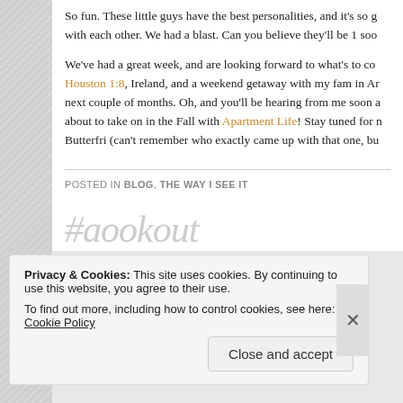So fun. These little guys have the best personalities, and it’s so g with each other. We had a blast. Can you believe they’ll be 1 soo
We’ve had a great week, and are looking forward to what’s to co Houston 1:8, Ireland, and a weekend getaway with my fam in Ar next couple of months. Oh, and you’ll be hearing from me soon a about to take on in the Fall with Apartment Life! Stay tuned for n Butterfri (can’t remember who exactly came up with that one, bu
POSTED IN BLOG, THE WAY I SEE IT
#aookout
Privacy & Cookies: This site uses cookies. By continuing to use this website, you agree to their use.
To find out more, including how to control cookies, see here: Cookie Policy
Close and accept